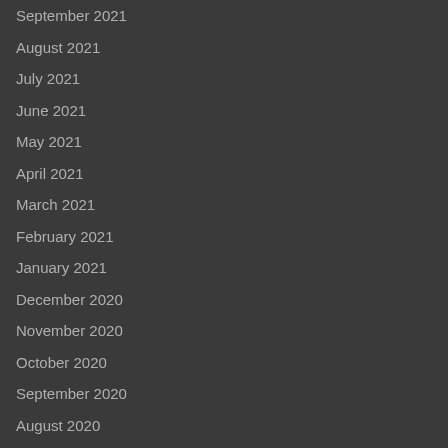September 2021
August 2021
July 2021
June 2021
May 2021
April 2021
March 2021
February 2021
January 2021
December 2020
November 2020
October 2020
September 2020
August 2020
July 2020
June 2020
Categories